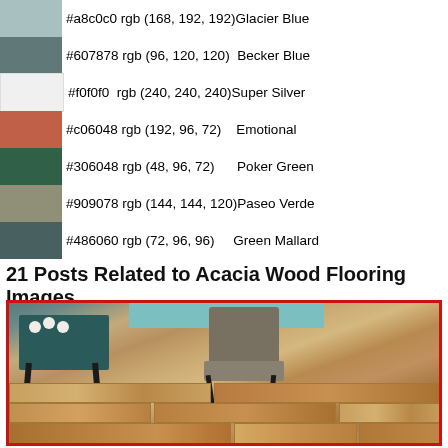#a8c0c0 rgb (168, 192, 192) Glacier Blue
#607878 rgb (96, 120, 120)  Becker Blue
#f0f0f0  rgb (240, 240, 240) Super Silver
#c06048 rgb (192, 96, 72)    Emotional
#306048 rgb (48, 96, 72)     Poker Green
#909078 rgb (144, 144, 120) Paseo Verde
#486060 rgb (72, 96, 96)     Green Mallard
21 Posts Related to Acacia Wood Flooring Images
[Figure (photo): Interior room photo showing acacia wood flooring planks with two chairs and a glass-top coffee table. Teal/turquoise wall accent visible in background. Image has a red border.]